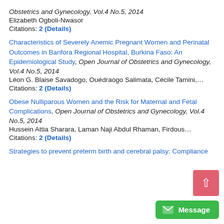Obstetrics and Gynecology, Vol.4 No.5, 2014
Elizabeth Ogboli-Nwasor
Citations: 2 (Details)
Characteristics of Severely Anemic Pregnant Women and Perinatal Outcomes in Banfora Regional Hospital, Burkina Faso: An Epidemiological Study, Open Journal of Obstetrics and Gynecology, Vol.4 No.5, 2014
Léon G. Blaise Savadogo, Ouédraogo Salimata, Cécile Tamini,…
Citations: 2 (Details)
Obese Nulliparous Women and the Risk for Maternal and Fetal Complications, Open Journal of Obstetrics and Gynecology, Vol.4 No.5, 2014
Hussein Attia Sharara, Laman Naji Abdul Rhaman, Firdous…
Citations: 2 (Details)
Strategies to prevent preterm birth and cerebral palsy: Compliance